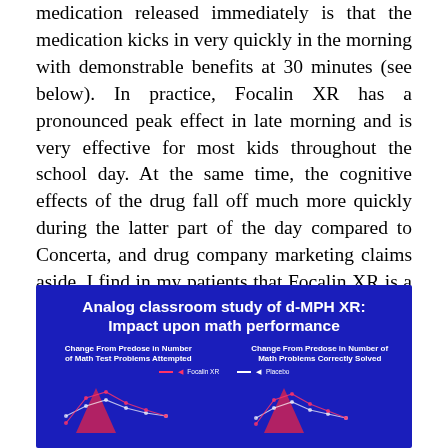medication released immediately is that the medication kicks in very quickly in the morning with demonstrable benefits at 30 minutes (see below). In practice, Focalin XR has a pronounced peak effect in late morning and is very effective for most kids throughout the school day. At the same time, the cognitive effects of the drug fall off much more quickly during the latter part of the day compared to Concerta, and drug company marketing claims aside, I find in my patients that Focalin XR is a good choice for kids who need medication to cover the duration of their school day, but not much longer.
[Figure (other): Analog classroom study of d-MPH XR: Impact upon math performance. Shows two charts side by side: Change From Predose in Number of Math Test Problems Attempted and Change From Predose in Number of Math Problems Correctly Solved. Legend shows Focalin XR and Placebo lines with pink arrow indicators at bottom.]